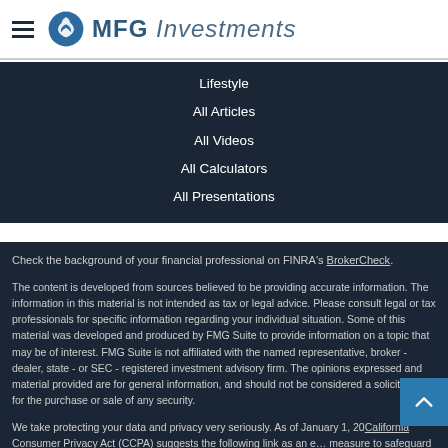MFG Investments
Lifestyle
All Articles
All Videos
All Calculators
All Presentations
Check the background of your financial professional on FINRA's BrokerCheck.
The content is developed from sources believed to be providing accurate information. The information in this material is not intended as tax or legal advice. Please consult legal or tax professionals for specific information regarding your individual situation. Some of this material was developed and produced by FMG Suite to provide information on a topic that may be of interest. FMG Suite is not affiliated with the named representative, broker - dealer, state - or SEC - registered investment advisory firm. The opinions expressed and material provided are for general information, and should not be considered a solicitation for the purchase or sale of any security.
We take protecting your data and privacy very seriously. As of January 1, 2020 the California Consumer Privacy Act (CCPA) suggests the following link as an extra measure to safeguard your data: Do not sell my personal information.
Copyright 2023 FMG Suite.